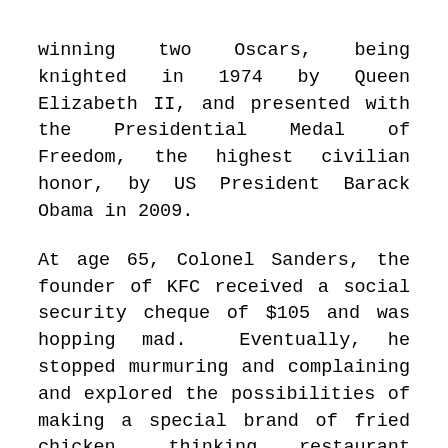winning two Oscars, being knighted in 1974 by Queen Elizabeth II, and presented with the Presidential Medal of Freedom, the highest civilian honor, by US President Barack Obama in 2009.
At age 65, Colonel Sanders, the founder of KFC received a social security cheque of $105 and was hopping mad. Eventually, he stopped murmuring and complaining and explored the possibilities of making a special brand of fried chicken, thinking restaurant owners would jump for joy and he would live happily ever after. Unfortunately, it did not work. But he did not give up. Walking around in his white suit knocking on doors and sleeping in his car, he tried 1009 times before he finally got one “yes”. The rest is now history. At the time of his death twenty-five years later, the Colonel as he was affectionately called, had over 6000